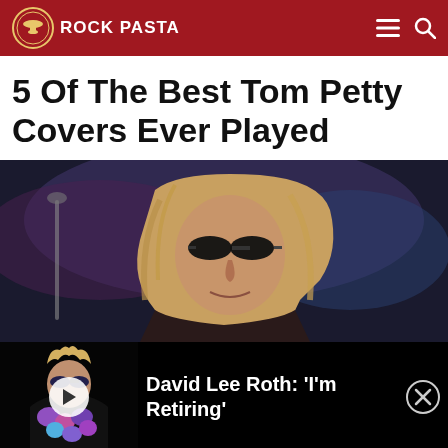ROCK PASTA
5 Of The Best Tom Petty Covers Ever Played
[Figure (photo): Tom Petty performing, wearing dark sunglasses, long blonde hair, dark jacket, moody stage lighting]
[Figure (photo): Ad banner: David Lee Roth wearing sunglasses and floral lei, with play button overlay. Text: David Lee Roth: 'I'm Retiring']